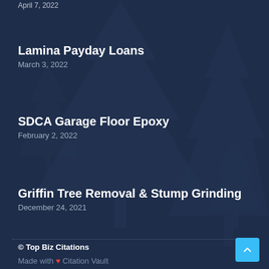April 7, 2022
Lamina Payday Loans
March 3, 2022
SDCA Garage Floor Epoxy
February 2, 2022
Griffin Tree Removal & Stump Grinding
December 24, 2021
© Top Biz Citations
Made with ❤ Citation Vault